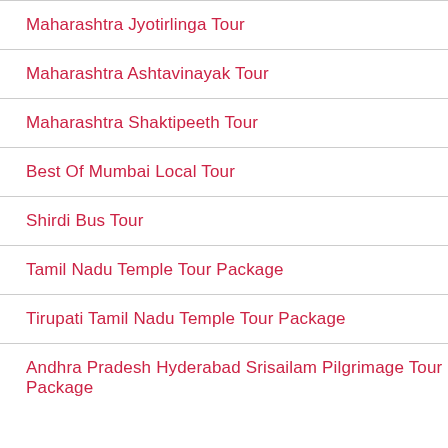Maharashtra Jyotirlinga Tour
Maharashtra Ashtavinayak Tour
Maharashtra Shaktipeeth Tour
Best Of Mumbai Local Tour
Shirdi Bus Tour
Tamil Nadu Temple Tour Package
Tirupati Tamil Nadu Temple Tour Package
Andhra Pradesh Hyderabad Srisailam Pilgrimage Tour Package